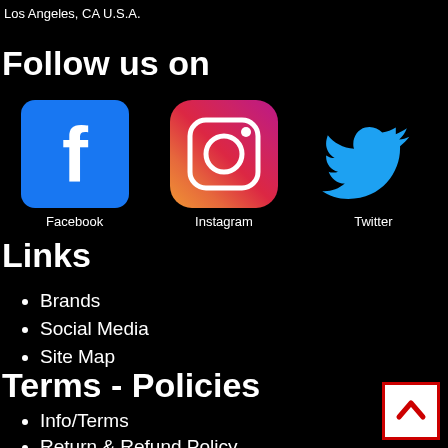Los Angeles, CA U.S.A.
Follow us on
[Figure (infographic): Three social media icons: Facebook (blue square with white 'f'), Instagram (gradient square with camera icon), Twitter (blue bird logo), each with their name below.]
Links
Brands
Social Media
Site Map
Terms - Policies
Info/Terms
Return & Refund Policy
Privacy Policy